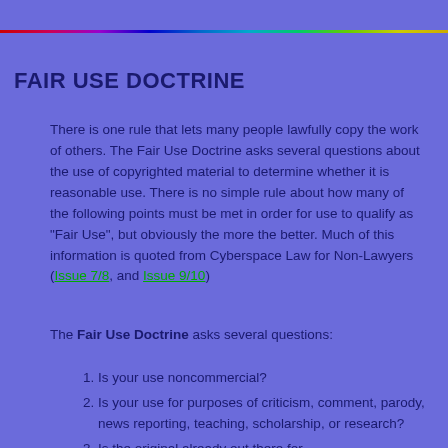FAIR USE DOCTRINE
There is one rule that lets many people lawfully copy the work of others. The Fair Use Doctrine asks several questions about the use of copyrighted material to determine whether it is reasonable use. There is no simple rule about how many of the following points must be met in order for use to qualify as "Fair Use", but obviously the more the better. Much of this information is quoted from Cyberspace Law for Non-Lawyers (Issue 7/8, and Issue 9/10)
The Fair Use Doctrine asks several questions:
Is your use noncommercial?
Is your use for purposes of criticism, comment, parody, news reporting, teaching, scholarship, or research?
Is the original already out there for...